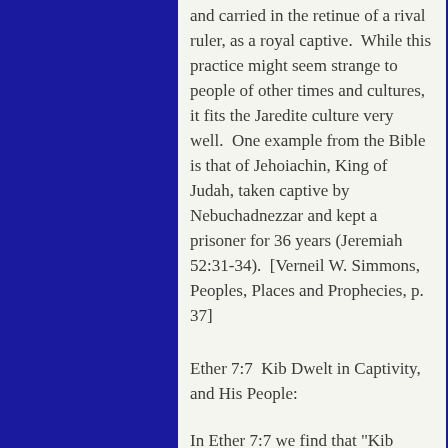and carried in the retinue of a rival ruler, as a royal captive.  While this practice might seem strange to people of other times and cultures, it fits the Jaredite culture very well.  One example from the Bible is that of Jehoiachin, King of Judah, taken captive by Nebuchadnezzar and kept a prisoner for 36 years (Jeremiah 52:31-34).  [Verneil W. Simmons, Peoples, Places and Prophecies, p. 37]
Ether 7:7  Kib Dwelt in Captivity, and His People:
In Ether 7:7 we find that "Kib dwelt in captivity, and his people under Corihor his son."  According to Warren and Palmer, in the probable